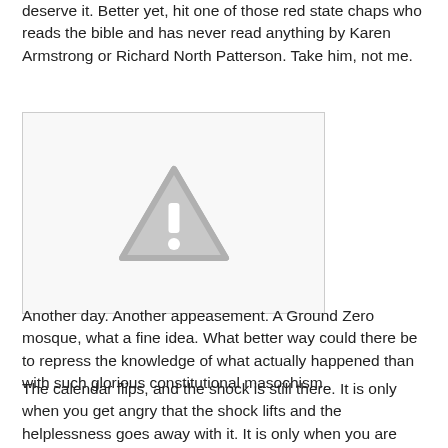deserve it. Better yet, hit one of those red state chaps who reads the bible and has never read anything by Karen Armstrong or Richard North Patterson. Take him, not me.
[Figure (other): Placeholder image with a grey warning/caution triangle icon with exclamation mark on a light grey background, inside a light bordered box.]
Another day. Another appeasement. A Ground Zero mosque, what a fine idea. What better way could there be to repress the knowledge of what actually happened than with such glorious constitutional masochism.
The calendar flips, and the shock is still there. It is only when you get angry that the shock lifts and the helplessness goes away with it. It is only when you are reading about it, you can let